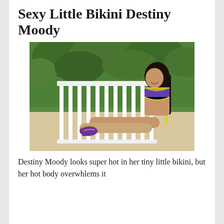Sexy Little Bikini Destiny Moody
[Figure (photo): A young woman with long dark hair sitting on a white slatted bench/lounger outdoors, wearing a purple and blue bikini with yellow trim and purple high-heeled sandals. Green foliage visible in background.]
Destiny Moody looks super hot in her tiny little bikini, but her hot body overwhlems it